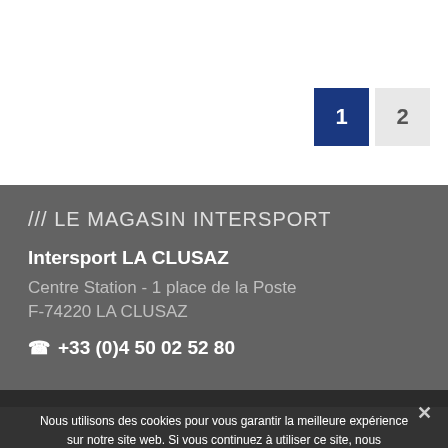1  2
/// LE MAGASIN INTERSPORT
Intersport LA CLUSAZ
Centre Station - 1 place de la Poste
F-74220 LA CLUSAZ

☎ +33 (0)4 50 02 52 80
Nous utilisons des cookies pour vous garantir la meilleure expérience sur notre site web. Si vous continuez à utiliser ce site, nous supposerons que vous en êtes satisfait.
Ok